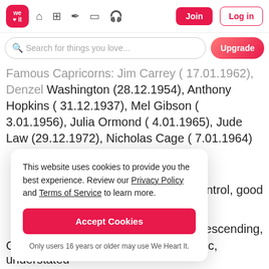We Heart It navigation bar with logo, icons, Join and Log in buttons
Search for things you love...
Famous Capricorns: Jim Carrey (17.01.1962), Denzel Washington (28.12.1954), Anthony Hopkins (31.12.1937), Mel Gibson (3.01.1956), Julia Ormond (4.01.1965), Jude Law (29.12.1972), Nicholas Cage (7.01.1964)
This website uses cookies to provide you the best experience. Review our Privacy Policy and Terms of Service to learn more.
Accept Cookies
Only users 16 years or older may use We Heart It.
...elf-control, good
...condescending,
Capricorn likes: Family, tradition, music, understated